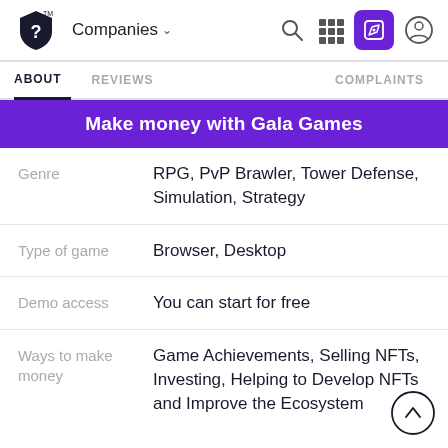Companies | Search | Grid | Edit | Profile
ABOUT   REVIEWS   COMPLAINTS
Make money with Gala Games
| Field | Value |
| --- | --- |
| Genre | RPG, PvP Brawler, Tower Defense, Simulation, Strategy |
| Type of game | Browser, Desktop |
| Demo access | You can start for free |
| Ways to make money | Game Achievements, Selling NFTs, Investing, Helping to Develop NFTs and Improve the Ecosystem |